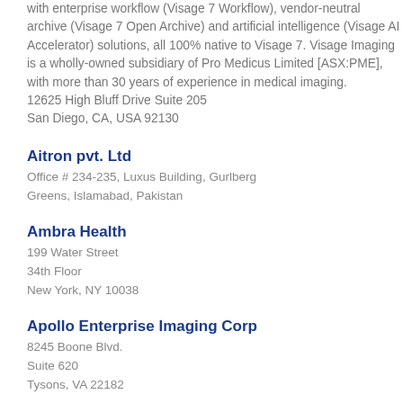with enterprise workflow (Visage 7 Workflow), vendor-neutral archive (Visage 7 Open Archive) and artificial intelligence (Visage AI Accelerator) solutions, all 100% native to Visage 7. Visage Imaging is a wholly-owned subsidiary of Pro Medicus Limited [ASX:PME], with more than 30 years of experience in medical imaging. 12625 High Bluff Drive Suite 205 San Diego, CA, USA 92130
Aitron pvt. Ltd
Office # 234-235, Luxus Building, Gurlberg Greens, Islamabad, Pakistan
Ambra Health
199 Water Street
34th Floor
New York, NY 10038
Apollo Enterprise Imaging Corp
8245 Boone Blvd.
Suite 620
Tysons, VA 22182